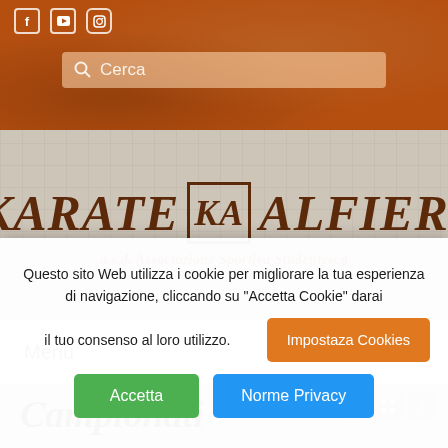Social icons: f, YouTube, Instagram
Cerca
KARATE KA ALFIERI
a.s.d. Associazione Sportiva Studentesca
Menu
Campionati
Questo sito Web utilizza i cookie per migliorare la tua esperienza di navigazione, cliccando su "Accetta Cookie" darai il tuo consenso al loro utilizzo.
Impostaza Cookies
Accetta
Norme Privacy